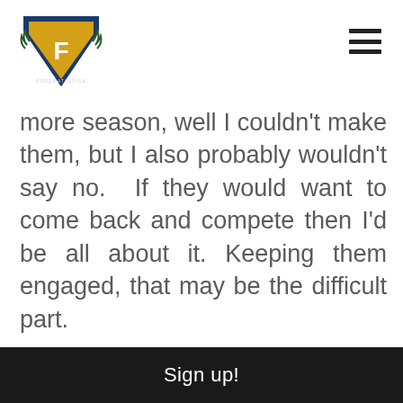[Figure (logo): Shield/crest logo with letter F and laurel branches, blue and gold colors, with text around the bottom]
more season, well I couldn't make them, but I also probably wouldn't say no.  If they would want to come back and compete then I'd be all about it. Keeping them engaged, that may be the difficult part.

I discussed it briefly in my most recent
Sign up!